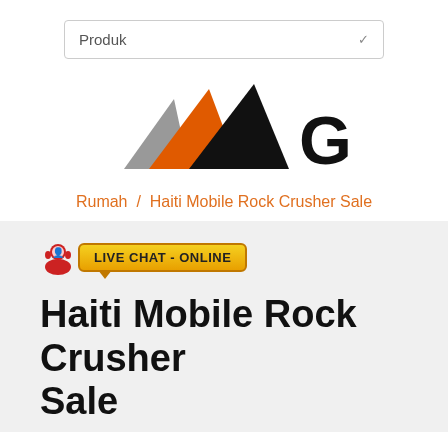[Figure (screenshot): Dropdown menu bar with label 'Produk' and a chevron arrow on the right]
[Figure (logo): GBM company logo with triangular mountain shapes in gray, orange, and black, followed by bold text 'GBM']
Rumah / Haiti Mobile Rock Crusher Sale
[Figure (other): Live Chat Online button with a support agent icon and yellow/gold bubble saying 'LIVE CHAT - ONLINE']
Haiti Mobile Rock Crusher Sale